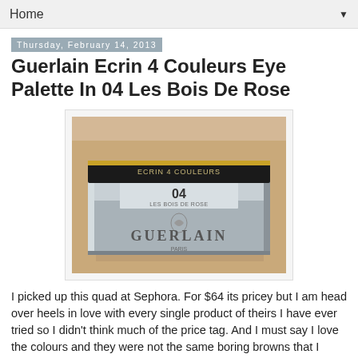Home
Thursday, February 14, 2013
Guerlain Ecrin 4 Couleurs Eye Palette In 04 Les Bois De Rose
[Figure (photo): Guerlain Ecrin 4 Couleurs eye palette box in shade 04 Les Bois De Rose, photographed on a wooden surface showing the silver metallic compact with Guerlain branding.]
I picked up this quad at Sephora. For $64 its pricey but I am head over heels in love with every single product of theirs I have ever tried so I didn't think much of the price tag. And I must say I love the colours and they were not the same boring browns that I always wear (ok, at least two of them aren't  lol!).